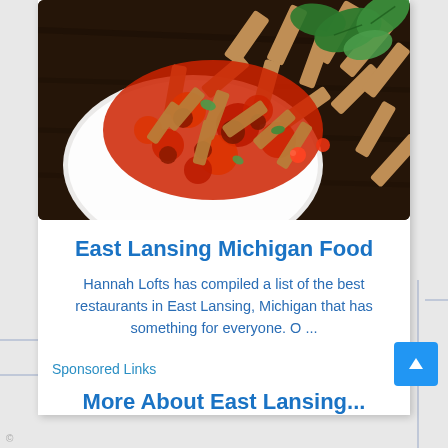[Figure (photo): Close-up photo of penne pasta with tomato meat sauce on a white plate, garnished with fresh basil leaves, on a dark wooden table.]
East Lansing Michigan Food
Hannah Lofts has compiled a list of the best restaurants in East Lansing, Michigan that has something for everyone. O ...
Sponsored Links
More About East Lansing...